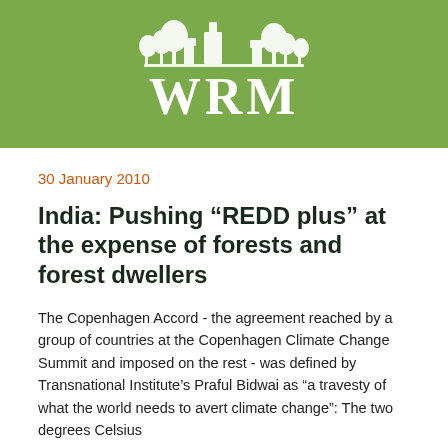[Figure (logo): WRM (World Rainforest Movement) logo: white illustration of trees and buildings above large white WRM text on a green background]
30 January 2010
India: Pushing “REDD plus” at the expense of forests and forest dwellers
The Copenhagen Accord - the agreement reached by a group of countries at the Copenhagen Climate Change Summit and imposed on the rest - was defined by Transnational Institute’s Praful Bidwai as “a travesty of what the world needs to avert climate change”: The two degrees Celsius